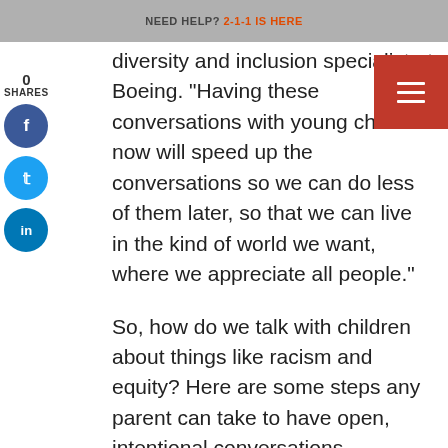NEED HELP? 2-1-1 IS HERE
diversity and inclusion specialist at Boeing. “Having these conversations with young children now will speed up the conversations so we can do less of them later, so that we can live in the kind of world we want, where we appreciate all people.”
So, how do we talk with children about things like racism and equity? Here are some steps any parent can take to have open, intentional conversations.